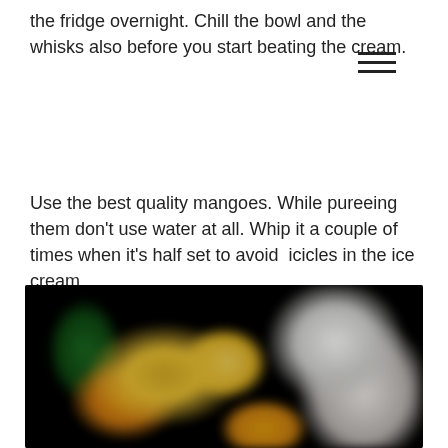the fridge overnight. Chill the bowl and the whisks also before you start beating the cream.
Use the best quality mangoes. While pureeing them don't use water at all. Whip it a couple of times when it's half set to avoid  icicles in the ice cream.
[Figure (photo): A dark bowl on a black background containing what appears to be mango ice cream scoops with a green garnish and white cream, photographed with a blurred/soft focus effect.]